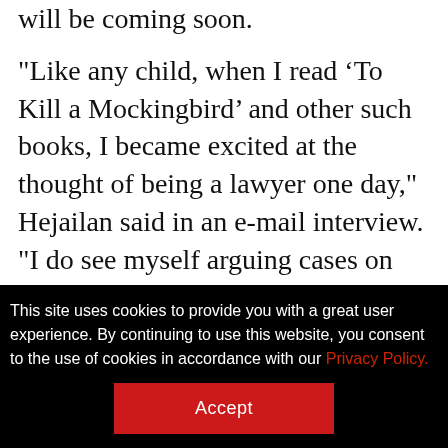will be coming soon.
"Like any child, when I read ‘To Kill a Mockingbird’ and other such books, I became excited at the thought of being a lawyer one day," Hejailan said in an e-mail interview. "I do see myself arguing cases on child custody, divorce and other family-related issues, once women are allowed to do so."
The ability to represent women, she says, will likely help many women who currently go to
This site uses cookies to provide you with a great user experience. By continuing to use this website, you consent to the use of cookies in accordance with our Privacy Policy.